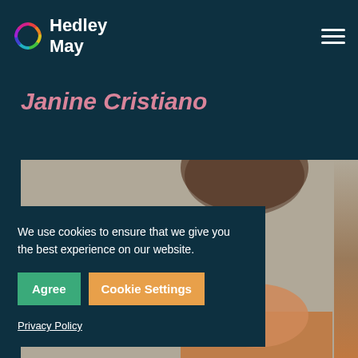Hedley May
Janine Cristiano
[Figure (photo): Profile photo of Janine Cristiano, partially visible with blurred background, dark teal overlay with cookie consent banner in front]
We use cookies to ensure that we give you the best experience on our website.
Agree
Cookie Settings
Privacy Policy